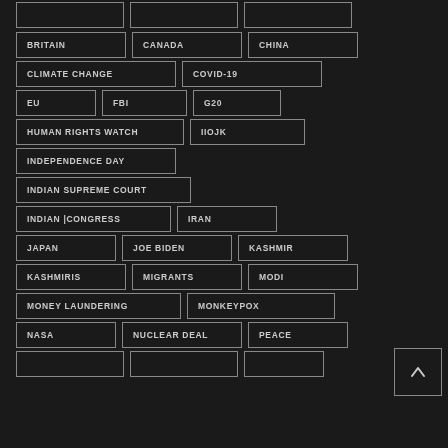BRITAIN
CANADA
CHINA
CLIMATE CHANGE
COVID-19
EU
FBI
G20
HUMAN RIGHTS WATCH
IIOJK
INDEPENDENCE DAY
INDIAN SUPREME COURT
INDIAN |CONGRESS
IRAN
JAPAN
JOE BIDEN
KASHMIR
KASHMIRIS
MIGRANTS
MODI
MONEY LAUNDERING
MONKEYPOX
NASA
NUCLEAR DEAL
PEACE